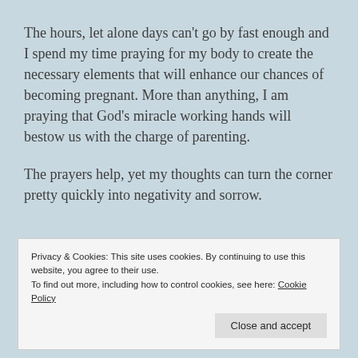The hours, let alone days can't go by fast enough and I spend my time praying for my body to create the necessary elements that will enhance our chances of becoming pregnant. More than anything, I am praying that God's miracle working hands will bestow us with the charge of parenting.
The prayers help, yet my thoughts can turn the corner pretty quickly into negativity and sorrow.
Privacy & Cookies: This site uses cookies. By continuing to use this website, you agree to their use.
To find out more, including how to control cookies, see here: Cookie Policy